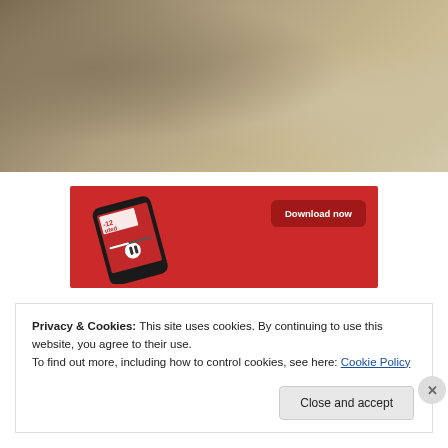[Figure (photo): Top portion of a photo showing a beige/tan fabric or cushion background, cropped.]
[Figure (screenshot): Advertisement banner with red background showing a smartphone running a podcast app, with text 'uted' visible and a 'Download now' button.]
Privacy & Cookies: This site uses cookies. By continuing to use this website, you agree to their use.
To find out more, including how to control cookies, see here: Cookie Policy
Close and accept